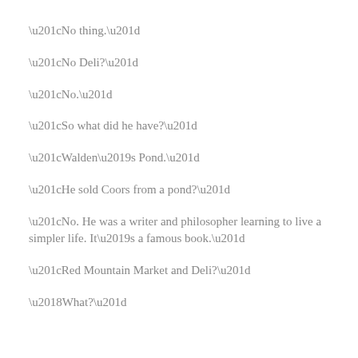“No thing.”
“No Deli?”
“No.”
“So what did he have?”
“Walden’s Pond.”
“He sold Coors from a pond?”
“No. He was a writer and philosopher learning to live a simpler life. It’s a famous book.”
“Red Mountain Market and Deli?”
‘What?”